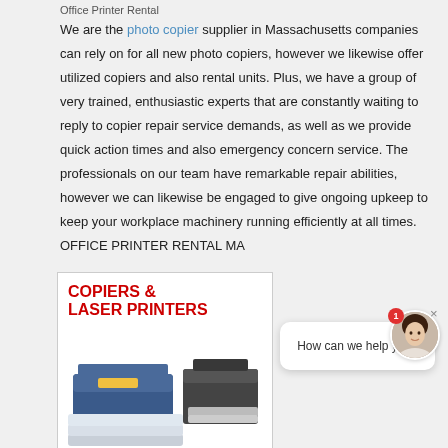Office Printer Rental
We are the photo copier supplier in Massachusetts companies can rely on for all new photo copiers, however we likewise offer utilized copiers and also rental units. Plus, we have a group of very trained, enthusiastic experts that are constantly waiting to reply to copier repair service demands, as well as we provide quick action times and also emergency concern service. The professionals on our team have remarkable repair abilities, however we can likewise be engaged to give ongoing upkeep to keep your workplace machinery running efficiently at all times. OFFICE PRINTER RENTAL MA
[Figure (photo): Advertisement image showing 'COPIERS & LASER PRINTERS' text in red with images of office copiers and laser printers]
[Figure (other): Chat popup with message 'How can we help you?' and avatar of a woman with a red badge showing '1', with a close button]